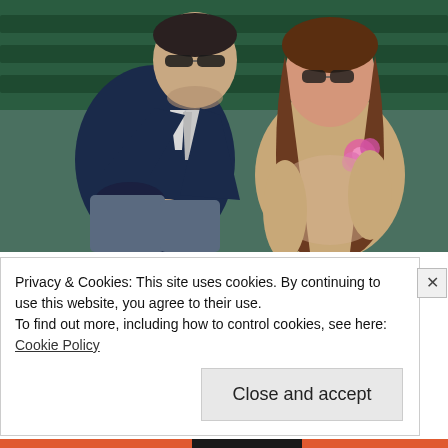[Figure (photo): Two people sitting in stadium/arena seating. A man in a dark navy suit with a light grey tie wearing sunglasses sits on the left. A young woman with long brown hair, wearing sunglasses and a beige/nude lace top with a pink flower accessory, sits on the right. Green seats visible in background.]
[Photos] Meet The Girlfriends Of The Richest Men On The Planet
Bon Voyaged
Privacy & Cookies: This site uses cookies. By continuing to use this website, you agree to their use.
To find out more, including how to control cookies, see here:
Cookie Policy
Close and accept